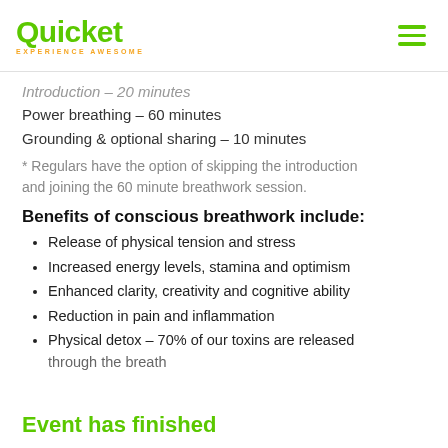Quicket — EXPERIENCE AWESOME
Introduction – 20 minutes
Power breathing – 60 minutes
Grounding & optional sharing – 10 minutes
* Regulars have the option of skipping the introduction and joining the 60 minute breathwork session.
Benefits of conscious breathwork include:
Release of physical tension and stress
Increased energy levels, stamina and optimism
Enhanced clarity, creativity and cognitive ability
Reduction in pain and inflammation
Physical detox – 70% of our toxins are released through the breath
Event has finished